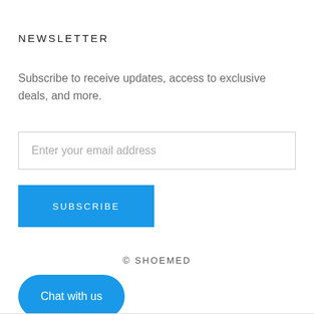NEWSLETTER
Subscribe to receive updates, access to exclusive deals, and more.
Enter your email address
SUBSCRIBE
© SHOEMED
Chat with us